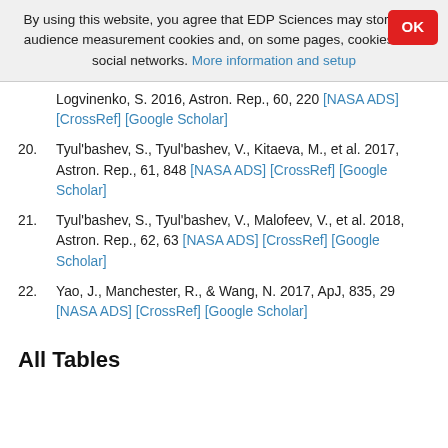By using this website, you agree that EDP Sciences may store web audience measurement cookies and, on some pages, cookies from social networks. More information and setup
Logvinenko, S. 2016, Astron. Rep., 60, 220 [NASA ADS] [CrossRef] [Google Scholar]
20. Tyul'bashev, S., Tyul'bashev, V., Kitaeva, M., et al. 2017, Astron. Rep., 61, 848 [NASA ADS] [CrossRef] [Google Scholar]
21. Tyul'bashev, S., Tyul'bashev, V., Malofeev, V., et al. 2018, Astron. Rep., 62, 63 [NASA ADS] [CrossRef] [Google Scholar]
22. Yao, J., Manchester, R., & Wang, N. 2017, ApJ, 835, 29 [NASA ADS] [CrossRef] [Google Scholar]
All Tables